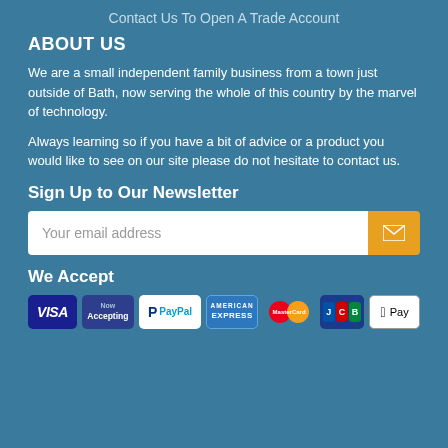Contact Us To Open A Trade Account
About Us
We are a small independent family business from a town just outside of Bath, now serving the whole of this country by the marvel of technology.
Always learning so if you have a bit of advice or a product you would like to see on our site please do not hesitate to contact us.
Sign Up to Our Newsletter
Your email address
We Accept
[Figure (infographic): Payment method logos: VISA, Now Accepting, PayPal, American Express, MasterCard, JCB, Apple Pay]